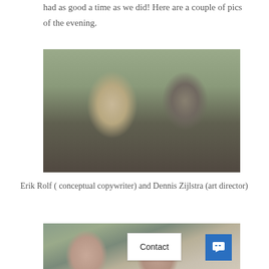had as good a time as we did! Here are a couple of pics of the evening.
[Figure (photo): Two men sitting on a couch, shaking hands and smiling. Left man wearing glasses and a grey blazer over a black shirt. Right man wearing a dark grey shirt with arms crossed. Green plants visible in background.]
Erik Rolf ( conceptual copywriter) and Dennis Zijlstra (art director)
[Figure (photo): Partial view of two women sitting together, with green plants in the background. A Contact chat widget is overlaid in the bottom right corner.]